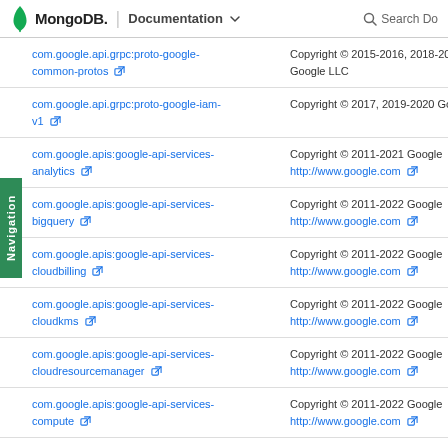MongoDB. | Documentation  Search Do
| Package | Copyright |
| --- | --- |
| com.google.api.grpc:proto-google-common-protos | Copyright © 2015-2016, 2018-2021 Google LLC |
| com.google.api.grpc:proto-google-iam-v1 | Copyright © 2017, 2019-2020 Google LLC |
| com.google.apis:google-api-services-analytics | Copyright © 2011-2021 Google http://www.google.com |
| com.google.apis:google-api-services-bigquery | Copyright © 2011-2022 Google http://www.google.com |
| com.google.apis:google-api-services-cloudbilling | Copyright © 2011-2022 Google http://www.google.com |
| com.google.apis:google-api-services-cloudkms | Copyright © 2011-2022 Google http://www.google.com |
| com.google.apis:google-api-services-cloudresourcemanager | Copyright © 2011-2022 Google http://www.google.com |
| com.google.apis:google-api-services-compute | Copyright © 2011-2022 Google http://www.google.com |
| com.google.apis:google-api-services-servicemanagement | Copyright © 2011-2022 Google http://www.google.com |
| com.google.apis:google-api-services-serviceusage | Copyright © 2011-2022 Google http://www.google.com |